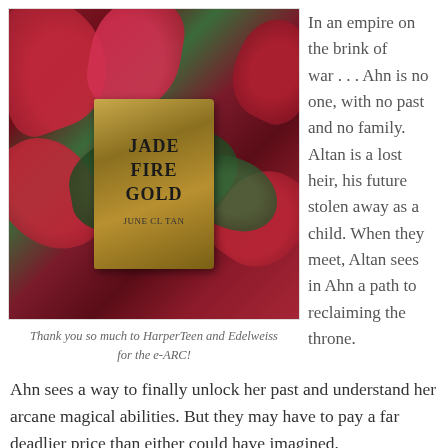[Figure (photo): Photo of a book titled 'Jade Fire Gold' by June CL Tan, surrounded by deep red flowers and dark green leaves]
Thank you so much to HarperTeen and Edelweiss for the e-ARC!
In an empire on the brink of war . . . Ahn is no one, with no past and no family. Altan is a lost heir, his future stolen away as a child. When they meet, Altan sees in Ahn a path to reclaiming the throne. Ahn sees a way to finally unlock her past and understand her arcane magical abilities. But they may have to pay a far deadlier price than either could have imagined.